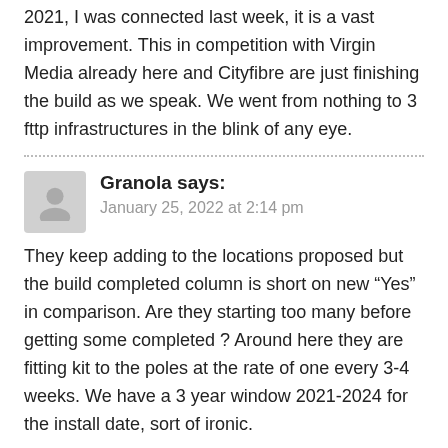2021, I was connected last week, it is a vast improvement. This in competition with Virgin Media already here and Cityfibre are just finishing the build as we speak. We went from nothing to 3 fttp infrastructures in the blink of any eye.
Granola says:
January 25, 2022 at 2:14 pm
They keep adding to the locations proposed but the build completed column is short on new “Yes” in comparison. Are they starting too many before getting some completed ? Around here they are fitting kit to the poles at the rate of one every 3-4 weeks. We have a 3 year window 2021-2024 for the install date, sort of ironic.
On the bright side it is underway.